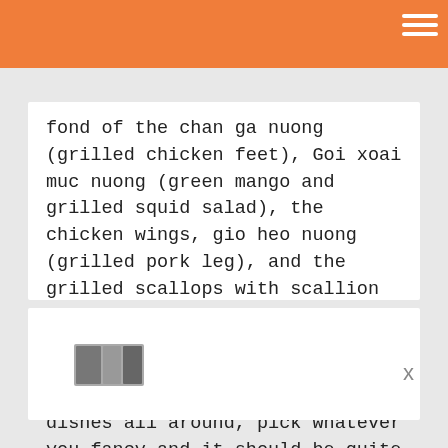fond of the chan ga nuong (grilled chicken feet), Goi xoai muc nuong (green mango and grilled squid salad), the chicken wings, gio heo nuong (grilled pork leg), and the grilled scallops with scallion oil and peanuts is pretty tasty too. In general, the grilled dishes here are good bets. As for Artist, they have tasty dishes all around, pick whatever you fancy and it should be quite tasty. Note that Artist is a bit grittier and well, sticky tables is kinda the norm there... Have fun!